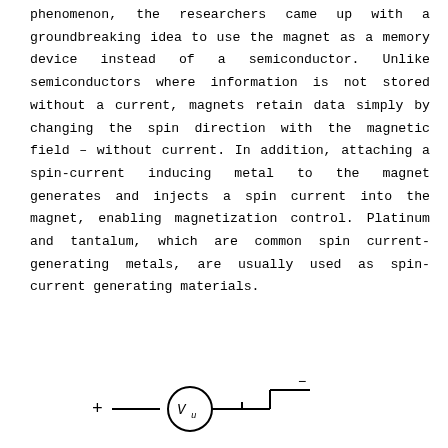phenomenon, the researchers came up with a groundbreaking idea to use the magnet as a memory device instead of a semiconductor. Unlike semiconductors where information is not stored without a current, magnets retain data simply by changing the spin direction with the magnetic field – without current. In addition, attaching a spin-current inducing metal to the magnet generates and injects a spin current into the magnet, enabling magnetization control. Platinum and tantalum, which are common spin current-generating metals, are usually used as spin-current generating materials.
[Figure (schematic): A partial circuit schematic showing a voltmeter (V with subscript u) symbol in a circuit, with a plus (+) terminal on the left and a minus (−) terminal on the right, connected by lines representing a circuit loop.]